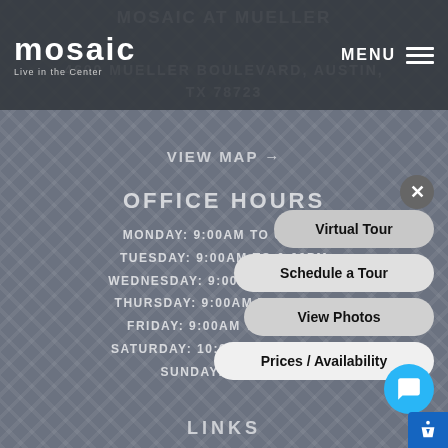mosaic — Live in the Center | MENU
MOSAIC AT MUELLER
4600 MUELLER BOULEVARD, AUSTIN, TX 78723
VIEW MAP →
OFFICE HOURS
MONDAY: 9:00AM TO 6:00PM
TUESDAY: 9:00AM TO 6:00PM
WEDNESDAY: 9:00AM TO 6:00PM
THURSDAY: 9:00AM TO 6:00PM
FRIDAY: 9:00AM TO 6:00PM
SATURDAY: 10:00AM TO 5:00PM
SUNDAY: CLOSED
LINKS